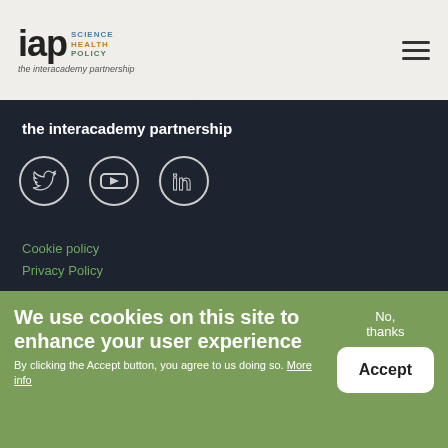[Figure (logo): IAP Science Health Policy - the interacademy partnership logo with hamburger menu icon]
the interacademy partnership
[Figure (illustration): Three social media icons in white outline on dark background: Twitter, YouTube, LinkedIn]
Cookie policy
Privacy Policy
The Trieste Secretariat Is Hosted By:
The World Academy of Sciences (TWAS) ICTP Campus, c/o TWAS
Strada Costiera 11
34151 Trieste, Italy
We use cookies on this site to enhance your user experience By clicking the Accept button, you agree to us doing so. More info